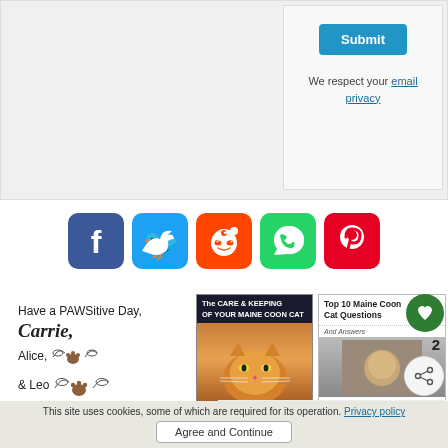[Figure (screenshot): Top portion of a web form with a dark blue Submit button and privacy text with email privacy link on a light gray background]
We respect your email privacy
[Figure (infographic): Row of five social media share buttons: Facebook (blue), Twitter (blue), Reddit (orange), WhatsApp (green), Pinterest (red)]
[Figure (illustration): Signature block reading 'Have a PAWSitive Day, Carrie, Alice, & Leo' with paw print and angel wing decorations]
[Figure (photo): Book cover for 'The Care & Keeping of Your Maine Coon Cat' showing an orange Maine Coon cat]
[Figure (screenshot): Top 10 Maine Coon Cat Questions and Answers panel with cat image and share/heart buttons]
[Figure (screenshot): What's Next section showing '5 Funny, Silly Cat Habits a...' with cat thumbnail]
This site uses cookies, some of which are required for its operation. Privacy policy
Agree and Continue